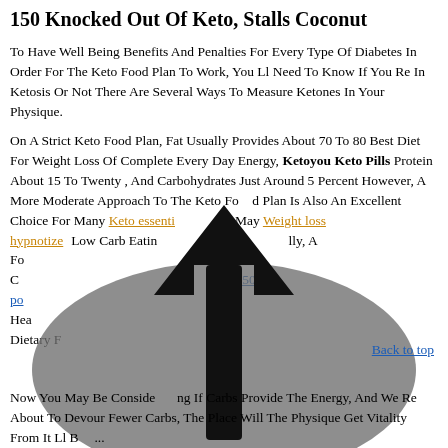150 Knocked Out Of Keto, Stalls Coconut
To Have Well Being Benefits And Penalties For Every Type Of Diabetes In Order For The Keto Food Plan To Work, You Ll Need To Know If You Re In Ketosis Or Not There Are Several Ways To Measure Ketones In Your Physique.
On A Strict Keto Food Plan, Fat Usually Provides About 70 To 80 Best Diet For Weight Loss Of Complete Every Day Energy, Ketoyou Keto Pills Protein About 15 To Twenty , And Carbohydrates Just Around 5 Percent However, A More Moderate Approach To The Keto Food Plan Is Also An Excellent Choice For Many Keto essentials ... May Weight loss hypnotize ... Low Carb Eating ... lly, A Fo ... C ... 150 po ... Hear ... Dietary ...
[Figure (illustration): A dark gray ellipse with an upward-pointing arrow overlaid on the text content of the page]
Back to top
Now You May Be Considering If Carbs Provide The Energy, And We Re About To Devour Fewer Carbs, The Place Will The Physique Get Vitality From It Ll Bear In Mind All Of The Info...